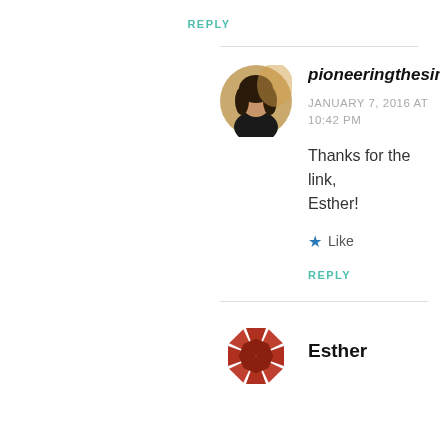REPLY
[Figure (photo): Circular avatar photo of a person with dark hair]
pioneeringthesimpleli
JANUARY 7, 2016 AT 10:42 PM
Thanks for the link, Esther!
★ Like
REPLY
[Figure (logo): Red/dark red pinwheel/star logo for Esther]
Esther